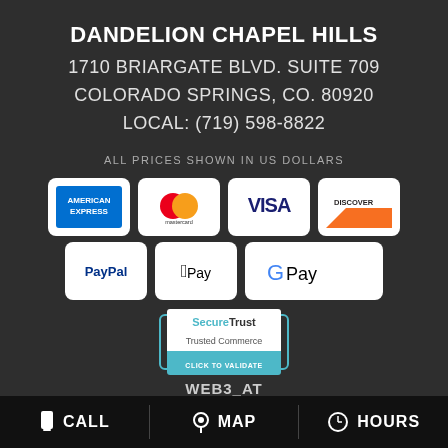DANDELION CHAPEL HILLS
1710 BRIARGATE BLVD. SUITE 709
COLORADO SPRINGS, CO. 80920
LOCAL: (719) 598-8822
ALL PRICES SHOWN IN US DOLLARS
[Figure (logo): Payment method logos: American Express, Mastercard, Visa, Discover, PayPal, Apple Pay, Google Pay]
[Figure (logo): SecureTrust Trusted Commerce - Click to Validate badge]
WEB3_AT
CALL | MAP | HOURS